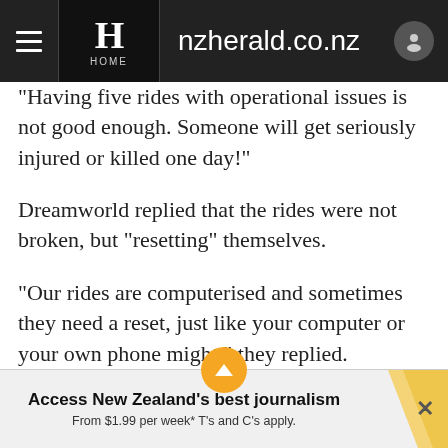nzherald.co.nz
"Having five rides with operational issues is not good enough. Someone will get seriously injured or killed one day!"
Dreamworld replied that the rides were not broken, but "resetting" themselves.
"Our rides are computerised and sometimes they need a reset, just like your computer or your own phone might," they replied.
"The rides are not broken, they are acting as they are designed to do for safety." the reply said.
Access New Zealand's best journalism From $1.99 per week* T's and C's apply.